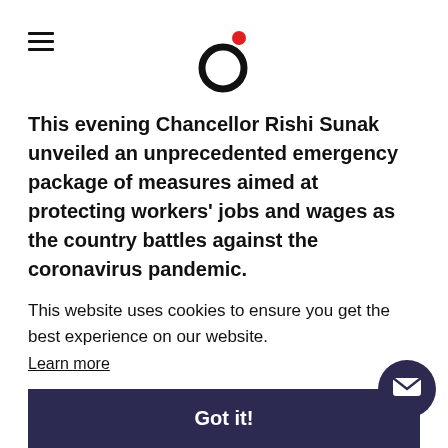[Logo: circular O with red dot]
This evening Chancellor Rishi Sunak unveiled an unprecedented emergency package of measures aimed at protecting workers' jobs and wages as the country battles against the coronavirus pandemic.
Earlier in the week, Boris Johnson urged businesses not to make staff redundancies, if at all possible. This latest [measure is one of the...] e of the [measures helping hard pressed] employers who are fast running out of cash and deeply worried about not being able to pay their st[aff]
This website uses cookies to ensure you get the best experience on our website.
Learn more
Got it!